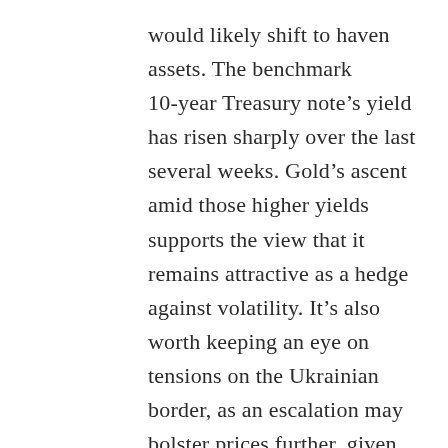would likely shift to haven assets. The benchmark 10-year Treasury note's yield has risen sharply over the last several weeks. Gold's ascent amid those higher yields supports the view that it remains attractive as a hedge against volatility. It's also worth keeping an eye on tensions on the Ukrainian border, as an escalation may bolster prices further, given that a geopolitical event could spark more selling across risk-sensitive assets.